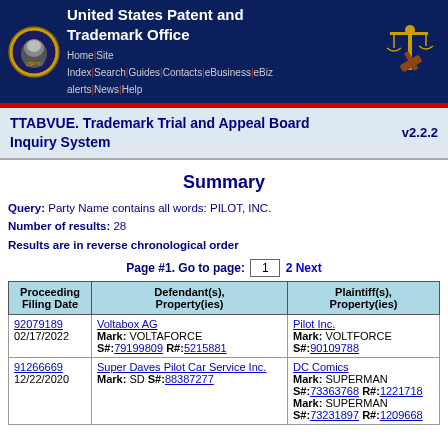United States Patent and Trademark Office | Home | Site Index | Search | Guides | Contacts | eBusiness | eBiz alerts | News | Help
TTABVUE. Trademark Trial and Appeal Board Inquiry System v2.2.2
Summary
Query: Party Name contains all words: PILOT, INC.
Number of results: 28
Results are in reverse chronological order
Page #1. Go to page: 1  2  Next
| Proceeding Filing Date | Defendant(s), Property(ies) | Plaintiff(s), Property(ies) |
| --- | --- | --- |
| 92079189
02/17/2022 | Voltabox AG
Mark: VOLTAFORCE
S#:79199809 R#:5215881 | Pilot Inc.
Mark: VOLTFORCE
S#:90109788 |
| 91266669
12/22/2020 | Super Daves Pilot Car Service Inc.
Mark: SD S#:88387277 | DC Comics
Mark: SUPERMAN
S#:73363768 R#:1221718
Mark: SUPERMAN
S#:73231897 R#:1209668 |